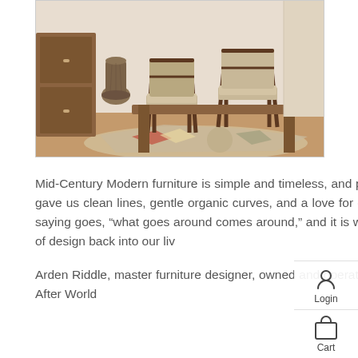[Figure (photo): Photo of mid-century modern dining chairs and furniture on a patterned rug, with a decorative vase in the background]
Mid-Century Modern furniture is simple and timeless, and provided an emotional rebellion from the ornamentation of the past. It gave us clean lines, gentle organic curves, and a love for different materials and designers that are idolized even today. As the saying goes, “what goes around comes around,” and it is with nostalgia that we have incorporated this simple yet beautiful style of design back into our liv...
Arden Riddle, master furniture designer, owned and operated Arden Riddle Furniture & Gallery for over 50 years in Akron, Ohio. After World...